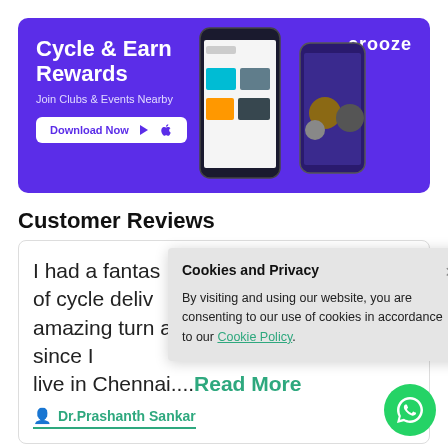[Figure (screenshot): Crooze app advertisement banner with purple background, showing 'Cycle & Earn Rewards', 'Join Clubs & Events Nearby', 'Download Now' button, Crooze logo, and phone mockups displaying the app]
Customer Reviews
I had a fantas... of cycle deliv... amazing turn around time of 2 days, since I live in Chennai....Read More
Dr.Prashanth Sankar
Cookies and Privacy — By visiting and using our website, you are consenting to our use of cookies in accordance to our Cookie Policy.